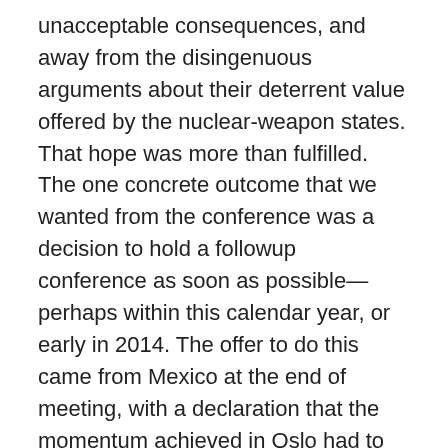unacceptable consequences, and away from the disingenuous arguments about their deterrent value offered by the nuclear-weapon states. That hope was more than fulfilled. The one concrete outcome that we wanted from the conference was a decision to hold a followup conference as soon as possible—perhaps within this calendar year, or early in 2014. The offer to do this came from Mexico at the end of meeting, with a declaration that the momentum achieved in Oslo had to continue and that the humanitarian perspective on nuclear weapons required action from States, particularly the non-nuclear-weapon states.
Followers of this blog know that the P5 boycotted the conference. This was a deliberate decision that the US, the UK, and France took in consultation with each other, while Russia and China were happy to go along. India and